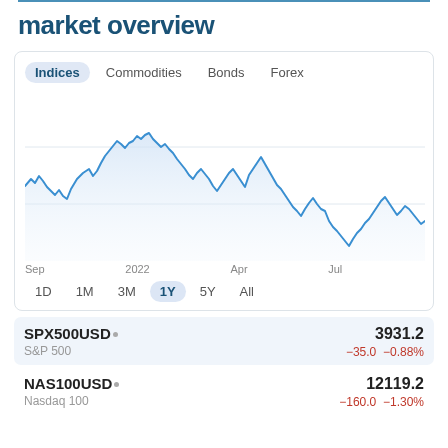market overview
[Figure (line-chart): Line chart showing SPX500USD index performance over 1 year from Sep 2021 to Aug 2022, with a rise to a peak around Jan 2022, then a prolonged decline to a low around Jul 2022, with a partial recovery.]
| Ticker | Name | Price | Change | Change% |
| --- | --- | --- | --- | --- |
| SPX500USD· | S&P 500 | 3931.2 | −35.0 | −0.88% |
| NAS100USD· | Nasdaq 100 | 12119.2 | −160.0 | −1.30% |